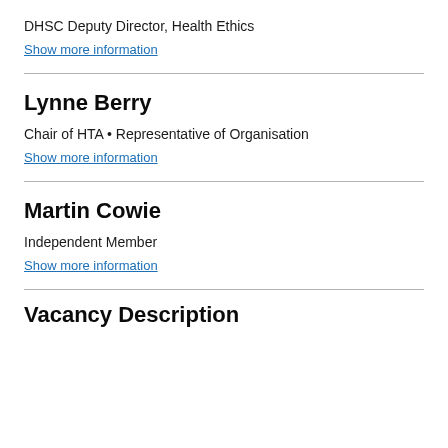DHSC Deputy Director, Health Ethics
Show more information
Lynne Berry
Chair of HTA • Representative of Organisation
Show more information
Martin Cowie
Independent Member
Show more information
Vacancy Description